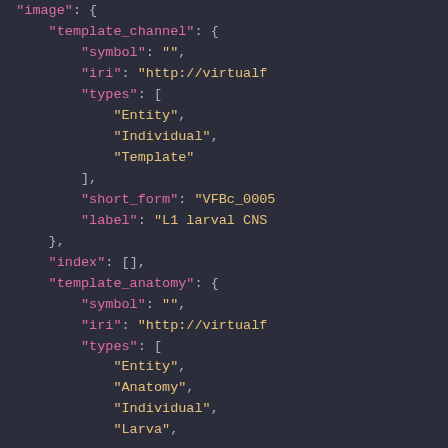JSON code snippet showing image template_channel and template_anatomy objects with symbol, iri, types, short_form, label, and index fields